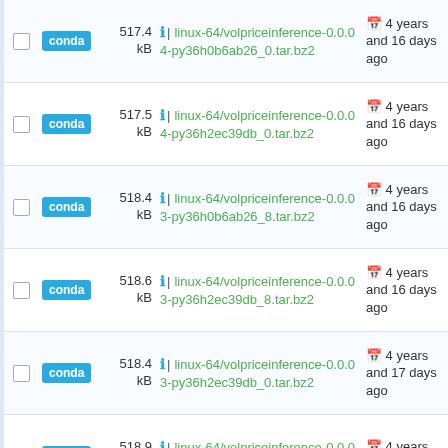conda | 517.4 kB | linux-64/volpriceinference-0.0.04-py36h0b6ab26_0.tar.bz2 | 4 years and 16 days ago
conda | 517.5 kB | linux-64/volpriceinference-0.0.04-py36h2ec39db_0.tar.bz2 | 4 years and 16 days ago
conda | 518.4 kB | linux-64/volpriceinference-0.0.03-py36h0b6ab26_8.tar.bz2 | 4 years and 16 days ago
conda | 518.6 kB | linux-64/volpriceinference-0.0.03-py36h2ec39db_8.tar.bz2 | 4 years and 16 days ago
conda | 518.4 kB | linux-64/volpriceinference-0.0.03-py36h2ec39db_0.tar.bz2 | 4 years and 17 days ago
conda | 518.9 kB | linux-64/volpriceinference-0.0.02- | 4 years and 17 days